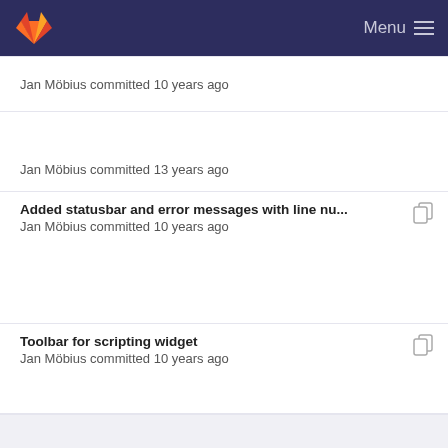GitLab — Menu
Jan Möbius committed 10 years ago
Jan Möbius committed 13 years ago
Added statusbar and error messages with line nu...
Jan Möbius committed 10 years ago
Toolbar for scripting widget
Jan Möbius committed 10 years ago